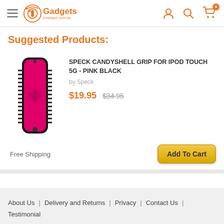Gadgets boutique.com.au — navigation header with hamburger menu, logo, user icon, search icon, cart icon (0)
Suggested Products:
[Figure (photo): Pink and black Speck CandyShell Grip case for iPod Touch 5G]
SPECK CANDYSHELL GRIP FOR IPOD TOUCH 5G - PINK BLACK
by Speck
$19.95  $34.95
Free Shipping
Add To Cart
About Us | Delivery and Returns | Privacy | Contact Us | Testimonial